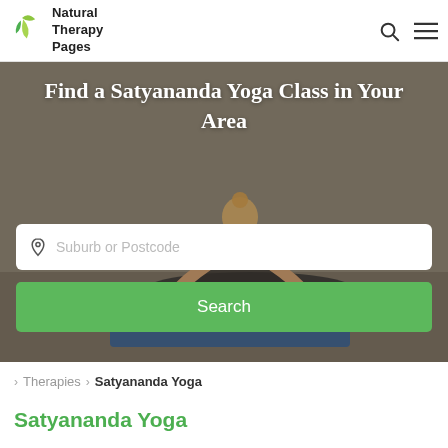Natural Therapy Pages
[Figure (photo): Hero image of a woman in yoga pose (cobra/upward dog) on a blue mat against a grey wall, with text overlay and search UI]
Find a Satyananda Yoga Class in Your Area
Suburb or Postcode
Search
Therapies > Satyananda Yoga
Satyananda Yoga